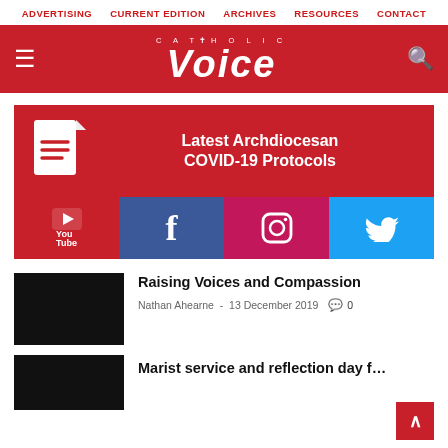ADVERTISING  CURRENT EDITION  ARCHIVES  RESOURCES  CONTACT
[Figure (logo): Catholic Voice logo — white text on red banner with hamburger menu and search icon]
[Figure (infographic): Latest Archdiocesan COVID-19 Protocols banner with document icon on red background]
[Figure (infographic): Social media icons row: YouTube (red), Facebook (blue), Instagram (pink), Twitter (light blue)]
Raising Voices and Compassion
Nathan Ahearne  -  13 December 2019   💬 0
Marist service and reflection day f...